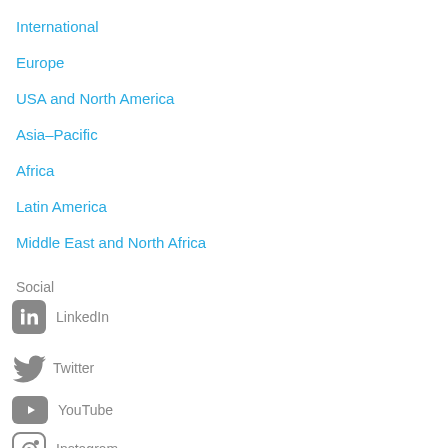International
Europe
USA and North America
Asia-Pacific
Africa
Latin America
Middle East and North Africa
Social
LinkedIn
Twitter
YouTube
Instagram